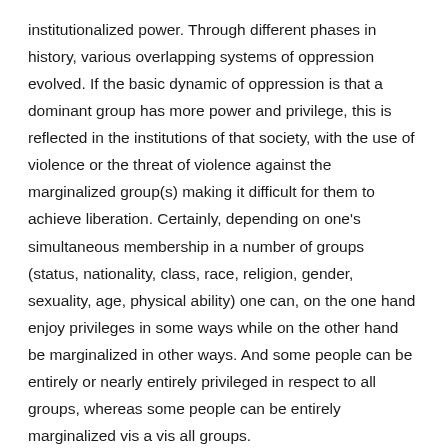institutionalized power. Through different phases in history, various overlapping systems of oppression evolved. If the basic dynamic of oppression is that a dominant group has more power and privilege, this is reflected in the institutions of that society, with the use of violence or the threat of violence against the marginalized group(s) making it difficult for them to achieve liberation. Certainly, depending on one's simultaneous membership in a number of groups  (status, nationality, class, race, religion, gender, sexuality, age, physical ability) one can, on the one hand enjoy privileges in some ways while on the other hand be marginalized in other ways. And some people can be entirely or nearly entirely privileged in respect to all groups, whereas some people can be entirely marginalized vis a vis all groups.
Allyship vs solidarity: For a very long time the word ally has been used to name members of dominant groups who support and actively work to further the liberation of marginalized groups. Many still use the word but in the past several years there's been a move